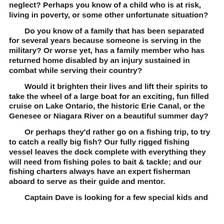neglect?  Perhaps you know of a child who is at risk, living in poverty, or some other unfortunate situation?
Do you know of a family that has been separated for several years because someone is serving in the military?  Or worse yet, has a family member who has returned home disabled by an injury sustained in combat while serving their country?
Would it brighten their lives and lift their spirits to take the wheel of a large boat for an exciting, fun filled cruise on Lake Ontario, the historic Erie Canal, or the Genesee or Niagara River on a beautiful summer day?
Or perhaps they'd rather go on a fishing trip,  to try to catch a really big fish?  Our fully rigged fishing vessel leaves the dock complete with everything they will need from fishing poles to bait & tackle; and our fishing charters always have an expert fisherman aboard to serve as their guide and mentor.
Captain Dave is looking for a few special kids and